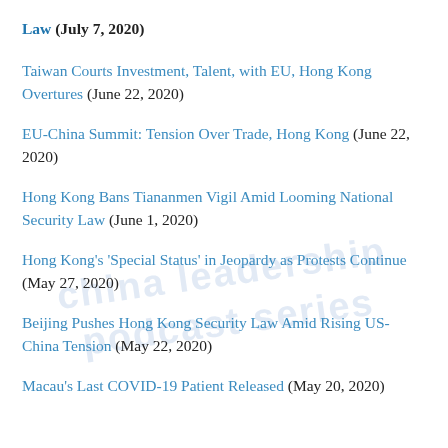Law (July 7, 2020)
Taiwan Courts Investment, Talent, with EU, Hong Kong Overtures (June 22, 2020)
EU-China Summit: Tension Over Trade, Hong Kong (June 22, 2020)
Hong Kong Bans Tiananmen Vigil Amid Looming National Security Law (June 1, 2020)
Hong Kong's 'Special Status' in Jeopardy as Protests Continue (May 27, 2020)
Beijing Pushes Hong Kong Security Law Amid Rising US-China Tension (May 22, 2020)
Macau's Last COVID-19 Patient Released (May 20, 2020)